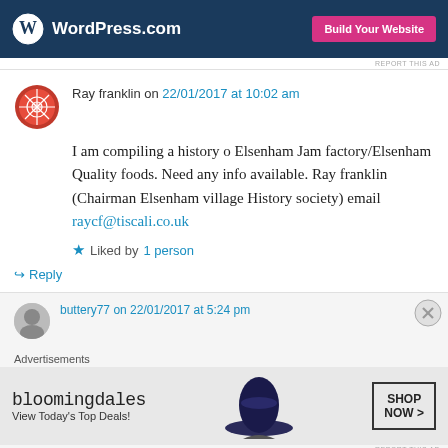[Figure (screenshot): WordPress.com banner ad with logo and 'Build Your Website' button]
REPORT THIS AD
Ray franklin on 22/01/2017 at 10:02 am
I am compiling a history o Elsenham Jam factory/Elsenham Quality foods. Need any info available. Ray franklin (Chairman Elsenham village History society) email raycf@tiscali.co.uk
Liked by 1 person
Reply
[Figure (screenshot): Bloomingdales advertisement with hat image and 'View Today's Top Deals! SHOP NOW >' text]
REPORT THIS AD